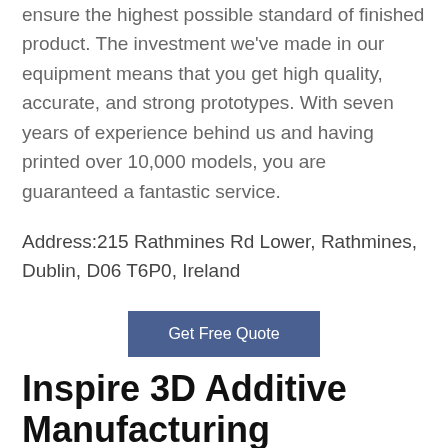ensure the highest possible standard of finished product. The investment we've made in our equipment means that you get high quality, accurate, and strong prototypes. With seven years of experience behind us and having printed over 10,000 models, you are guaranteed a fantastic service.
Address:215 Rathmines Rd Lower, Rathmines, Dublin, D06 T6P0, Ireland
Get Free Quote
Inspire 3D Additive Manufacturing Solutions
Formed in 2011, Inspire 3D are Ireland's premier providers of 3D technologies. We sell, service and